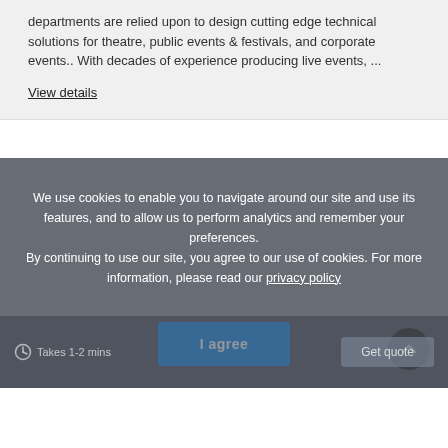departments are relied upon to design cutting edge technical solutions for theatre, public events & festivals, and corporate events.. With decades of experience producing live events, ...
View details
We use cookies to enable you to navigate around our site and use its features, and to allow us to perform analytics and remember your preferences. By continuing to use our site, you agree to our use of cookies. For more information, please read our privacy policy
I agree
Takes 1-2 mins
Get quote